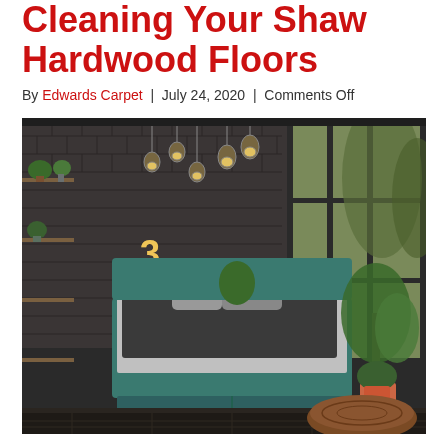Cleaning Your Shaw Hardwood Floors
By Edwards Carpet | July 24, 2020 | Comments Off
[Figure (photo): Modern industrial-style bedroom with dark hardwood floors, teal pallet bed frame, exposed brick wall, hanging Edison pendant lights, large glass windows, shelving with plants, and a brown leather ottoman.]